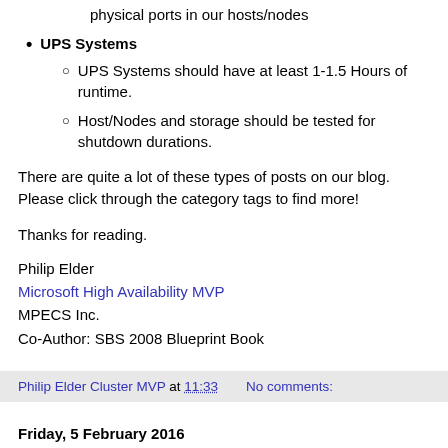physical ports in our hosts/nodes
UPS Systems
UPS Systems should have at least 1-1.5 Hours of runtime.
Host/Nodes and storage should be tested for shutdown durations.
There are quite a lot of these types of posts on our blog. Please click through the category tags to find more!
Thanks for reading.
Philip Elder
Microsoft High Availability MVP
MPECS Inc.
Co-Author: SBS 2008 Blueprint Book
Philip Elder Cluster MVP at 11:33   No comments:
Friday, 5 February 2016